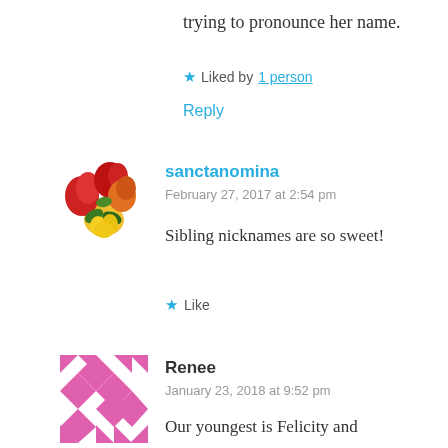trying to pronounce her name.
★ Liked by 1 person
Reply
[Figure (illustration): Floral avatar image with red, orange, and yellow flowers with green leaves]
sanctanomina
February 27, 2017 at 2:54 pm
Sibling nicknames are so sweet!
★ Like
[Figure (illustration): Pink geometric pattern avatar with diamond/square shapes on white background]
Renee
January 23, 2018 at 9:52 pm
Our youngest is Felicity and